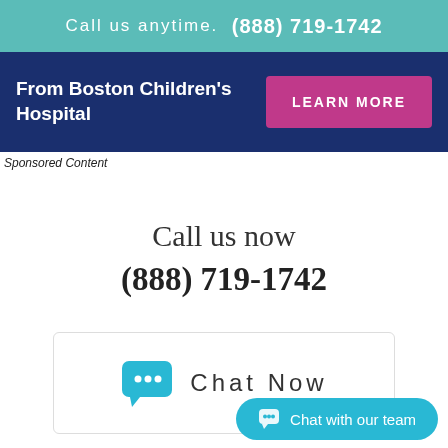Call us anytime.  (888) 719-1742
[Figure (infographic): Boston Children's Hospital sponsored content banner with dark blue background, showing 'From Boston Children's Hospital' text on left and a pink 'LEARN MORE' button on right]
Sponsored Content
Call us now
(888) 719-1742
[Figure (infographic): Chat Now box with a blue chat bubble icon and 'Chat Now' text in spaced letters, inside a light bordered rectangle]
Chat with our team